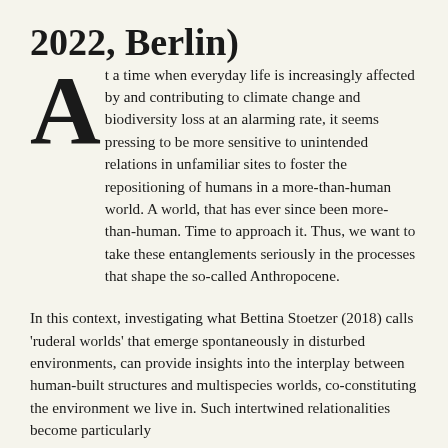2022, Berlin)
At a time when everyday life is increasingly affected by and contributing to climate change and biodiversity loss at an alarming rate, it seems pressing to be more sensitive to unintended relations in unfamiliar sites to foster the repositioning of humans in a more-than-human world. A world, that has ever since been more-than-human. Time to approach it. Thus, we want to take these entanglements seriously in the processes that shape the so-called Anthropocene.
In this context, investigating what Bettina Stoetzer (2018) calls 'ruderal worlds' that emerge spontaneously in disturbed environments, can provide insights into the interplay between human-built structures and multispecies worlds, co-constituting the environment we live in. Such intertwined relationalities become particularly